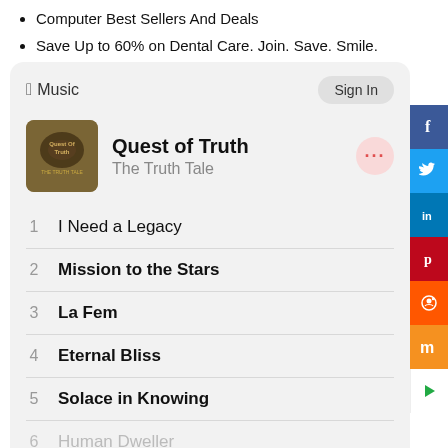Computer Best Sellers And Deals
Save Up to 60% on Dental Care. Join. Save. Smile.
[Figure (screenshot): Apple Music card widget showing album 'Quest of Truth' by The Truth Tale with a tracklist: 1 I Need a Legacy, 2 Mission to the Stars, 3 La Fem, 4 Eternal Bliss, 5 Solace in Knowing, 6 Human Dweller (dimmed), and a red Play button. Sign In button in top right.]
[Figure (infographic): Social share sidebar with Facebook, Twitter, LinkedIn, Pinterest, Reddit, Mix buttons and a right arrow]